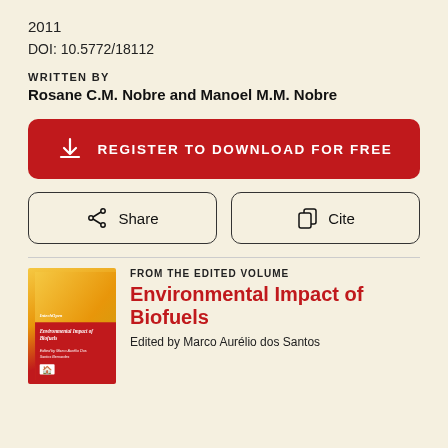2011
DOI: 10.5772/18112
WRITTEN BY
Rosane C.M. Nobre and Manoel M.M. Nobre
[Figure (other): Red button: REGISTER TO DOWNLOAD FOR FREE with download icon]
[Figure (other): Two action buttons side by side: Share (with share icon) and Cite (with copy icon)]
[Figure (other): Book cover thumbnail for Environmental Impact of Biofuels]
FROM THE EDITED VOLUME
Environmental Impact of Biofuels
Edited by Marco Aurélio dos Santos